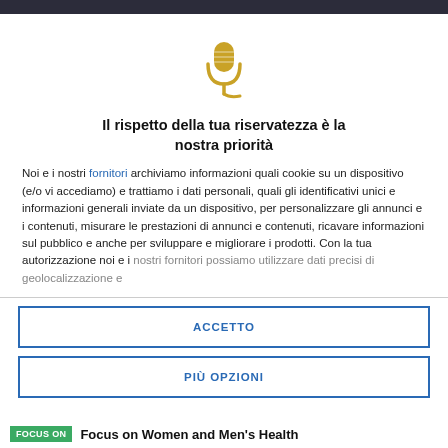[Figure (illustration): Gold microphone icon with cable]
Il rispetto della tua riservatezza è la nostra priorità
Noi e i nostri fornitori archiviamo informazioni quali cookie su un dispositivo (e/o vi accediamo) e trattiamo i dati personali, quali gli identificativi unici e informazioni generali inviate da un dispositivo, per personalizzare gli annunci e i contenuti, misurare le prestazioni di annunci e contenuti, ricavare informazioni sul pubblico e anche per sviluppare e migliorare i prodotti. Con la tua autorizzazione noi e i nostri fornitori possiamo utilizzare dati precisi di geolocalizzazione e
ACCETTO
PIÙ OPZIONI
Focus on Women and Men's Health